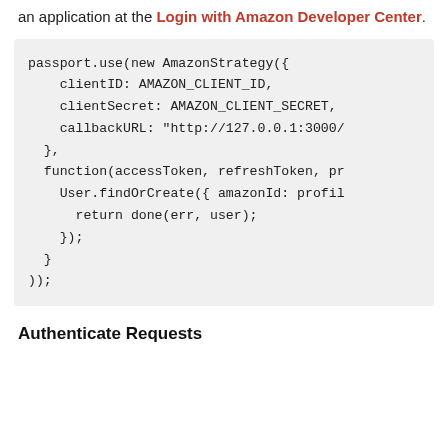an application at the Login with Amazon Developer Center.
Authenticate Requests